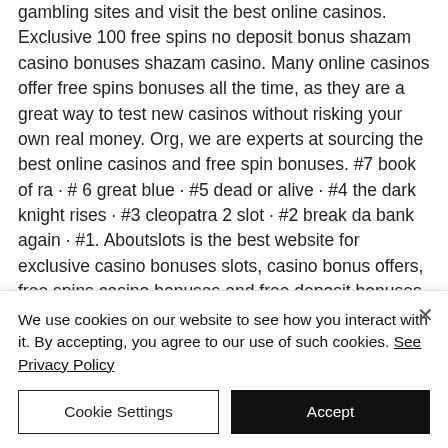gambling sites and visit the best online casinos. Exclusive 100 free spins no deposit bonus shazam casino bonuses shazam casino. Many online casinos offer free spins bonuses all the time, as they are a great way to test new casinos without risking your own real money. Org, we are experts at sourcing the best online casinos and free spin bonuses. #7 book of ra · # 6 great blue · #5 dead or alive · #4 the dark knight rises · #3 cleopatra 2 slot · #2 break da bank again · #1. Aboutslots is the best website for exclusive casino bonuses slots, casino bonus offers, free spins casino bonuses and free deposit bonuses. Do you want to find
We use cookies on our website to see how you interact with it. By accepting, you agree to our use of such cookies. See Privacy Policy